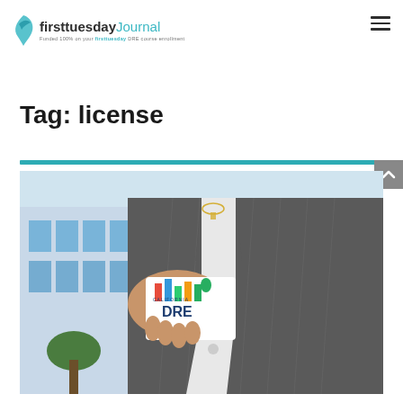firsttuesdayJournal — Funded 100% on your firsttuesday DRE course enrollment
Tag: license
[Figure (photo): A person in a grey pinstripe suit holding a California DRE (Department of Real Estate) card in front of a modern office building with blue glass windows.]